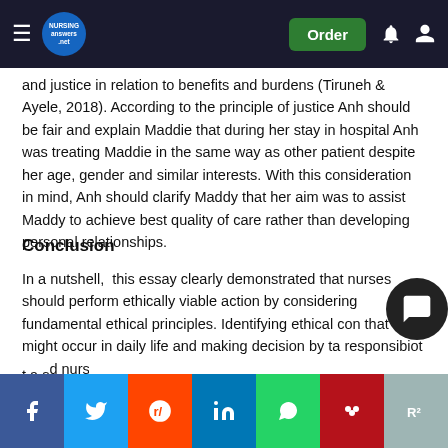Order
and justice in relation to benefits and burdens (Tiruneh & Ayele, 2018). According to the principle of justice Anh should be fair and explain Maddie that during her stay in hospital Anh was treating Maddie in the same way as other patient despite her age, gender and similar interests. With this consideration in mind, Anh should clarify Maddy that her aim was to assist Maddy to achieve best quality of care rather than developing personal relationships.
Conclusion
In a nutshell, this essay clearly demonstrated that nurses should perform ethically viable action by considering fundamental ethical principles. Identifying ethical con... that might occur in daily life and making decision by ta... responsibi...t a s...d nurse. Likewise, in this case Scenario Anh was not able to